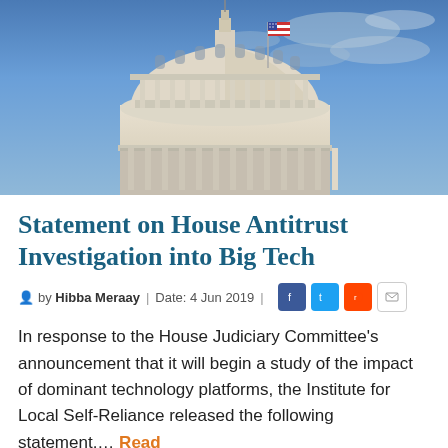[Figure (photo): Photograph of the US Capitol Building dome against a blue cloudy sky, showing classical white columns and architectural detail.]
Statement on House Antitrust Investigation into Big Tech
by Hibba Meraay | Date: 4 Jun 2019 |
In response to the House Judiciary Committee's announcement that it will begin a study of the impact of dominant technology platforms, the Institute for Local Self-Reliance released the following statement.... Read